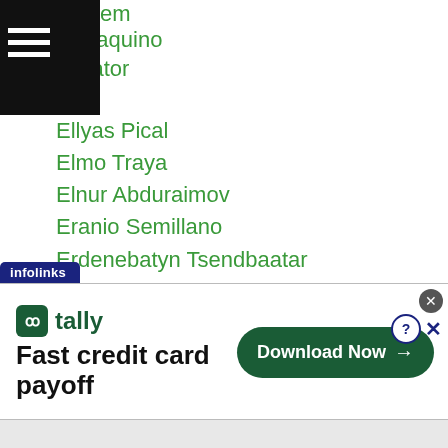Rikdem
s Joaquino
minator
Ellyas Pical
Elmo Traya
Elnur Abduraimov
Eranio Semillano
Erdenebatyn Tsendbaatar
Eric Pen
Erika Hanawa
Eri Matsuda
Erkhembayar Batbayar
Ernesto Saulong
Ernie Sanchez
Eruka Hiromoto
Esneth Domingo
[Figure (screenshot): Infolinks advertisement banner for Tally app: 'Fast credit card payoff' with a 'Download Now' button]